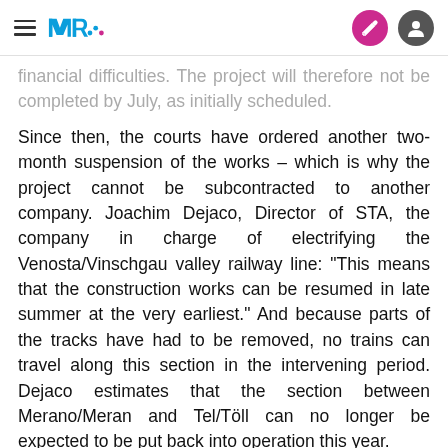[hamburger menu] [MR logo] [edit icon] [user icon]
financial difficulties. The project will therefore not be completed by July, as initially scheduled.
Since then, the courts have ordered another two-month suspension of the works – which is why the project cannot be subcontracted to another company. Joachim Dejaco, Director of STA, the company in charge of electrifying the Venosta/Vinschgau valley railway line: “This means that the construction works can be resumed in late summer at the very earliest.” And because parts of the tracks have had to be removed, no trains can travel along this section in the intervening period. Dejaco estimates that the section between Merano/Meran and Tel/Töll can no longer be expected to be put back into operation this year.